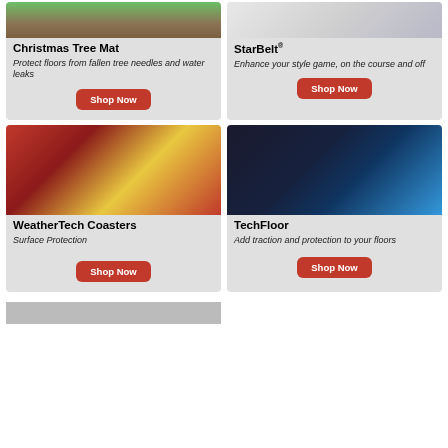[Figure (photo): Christmas Tree Mat product photo showing green mat on wood floor]
Christmas Tree Mat
Protect floors from fallen tree needles and water leaks
Shop Now
[Figure (photo): StarBelt product photo showing belt accessories]
StarBelt®
Enhance your style game, on the course and off
Shop Now
[Figure (photo): WeatherTech Coasters with picnic scene, food on plaid tablecloth]
WeatherTech Coasters
Surface Protection
Shop Now
[Figure (photo): TechFloor with motorcycle wheel on blue textured garage floor mat]
TechFloor
Add traction and protection to your floors
Shop Now
[Figure (photo): Partial product card at bottom of page, cropped]